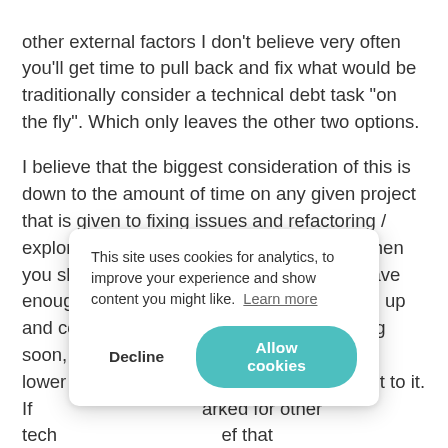other external factors I don't believe very often you'll get time to pull back and fix what would be traditionally consider a technical debt task "on the fly". Which only leaves the other two options.
I believe that the biggest consideration of this is down to the amount of time on any given project that is given to fixing issues and refactoring / exploring (and if you don't have any, ever, then you should start asking for some!). If you have enough time, and scope to prioritise it in the up and coming sprints / the work you're tackling soon, then allowing for consistent code of a lower quali[...] when you get to it. If [...] arked for other tech[...] ef that consistentl[...] tion, bad code that s[...] ld advocate to push back a little bit harder and refuse to
This site uses cookies for analytics, to improve your experience and show content you might like. Learn more
Decline
Allow cookies